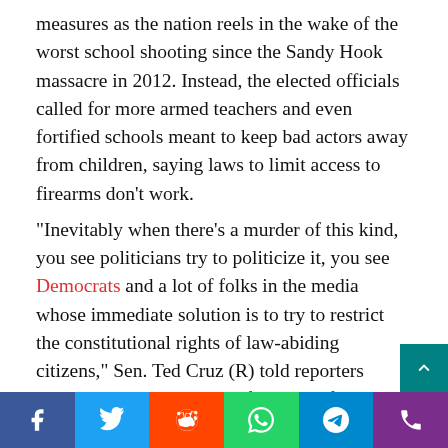measures as the nation reels in the wake of the worst school shooting since the Sandy Hook massacre in 2012. Instead, the elected officials called for more armed teachers and even fortified schools meant to keep bad actors away from children, saying laws to limit access to firearms don't work.
“Inevitably when there’s a murder of this kind, you see politicians try to politicize it, you see Democrats and a lot of folks in the media whose immediate solution is to try to restrict the constitutional rights of law-abiding citizens,” Sen. Ted Cruz (R) told reporters Tuesday as parents waited for news of their missing children, providing DNA swabs to police to help identify the young victims. “That doesn’t work. It’s not effective. It doesn’t prevent crime.”
He went on to say that the “most effective” tool to keep kids safe in schools is more armed law enforcement on